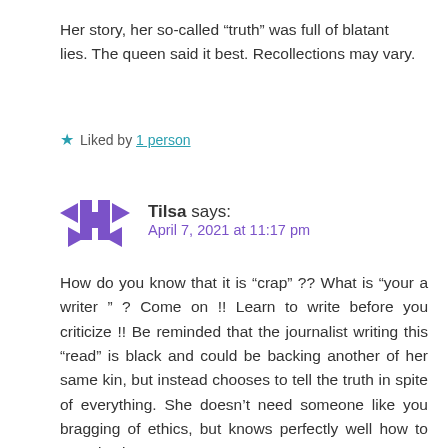Her story, her so-called “truth” was full of blatant lies. The queen said it best. Recollections may vary.
★ Liked by 1 person
Tilsa says:
April 7, 2021 at 11:17 pm
How do you know that it is “crap” ?? What is “your a writer ” ? Come on !! Learn to write before you criticize !! Be reminded that the journalist writing this “read” is black and could be backing another of her same kin, but instead chooses to tell the truth in spite of everything. She doesn’t need someone like you bragging of ethics, but knows perfectly well how to exercise it !!